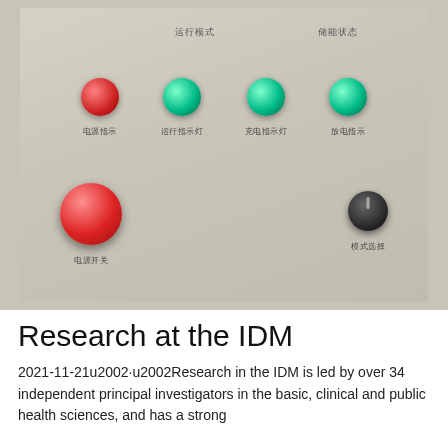[Figure (photo): A control panel with indicator lights and buttons. Top row has one red indicator light and three green indicator lights with Chinese character labels beneath each. Bottom section has a large red emergency button on the left with Chinese label, and a black rotary knob on the right with Chinese label. The panel has Chinese text labels at the top.]
Research at the IDM
2021-11-21u2002·u2002Research in the IDM is led by over 34 independent principal investigators in the basic, clinical and public health sciences, and has a strong